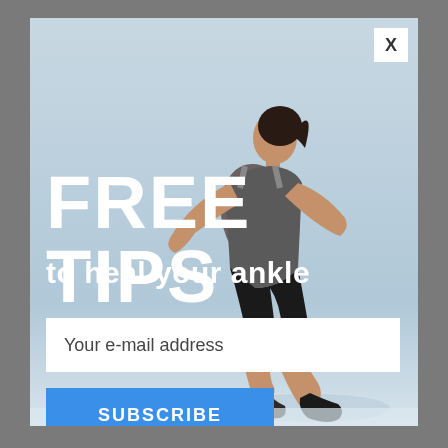[Figure (photo): A woman in athletic wear running dynamically against a light blue-grey background. She is mid-stride, leaning forward with arms bent, wearing black shorts and a grey sports top.]
FREE TIPS
to heal your ankle
Your e-mail address
SUBSCRIBE